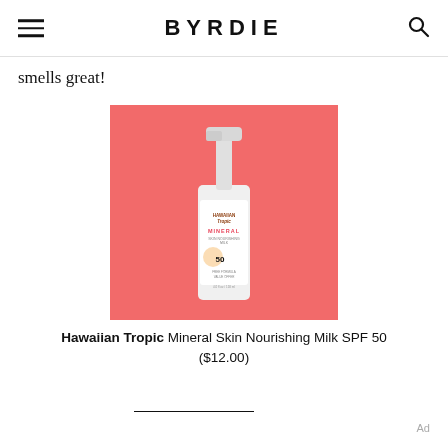BYRDIE
smells great!
[Figure (photo): Hawaiian Tropic Mineral Skin Nourishing Milk SPF 50 product bottle on a coral/salmon pink background]
Hawaiian Tropic Mineral Skin Nourishing Milk SPF 50 ($12.00)